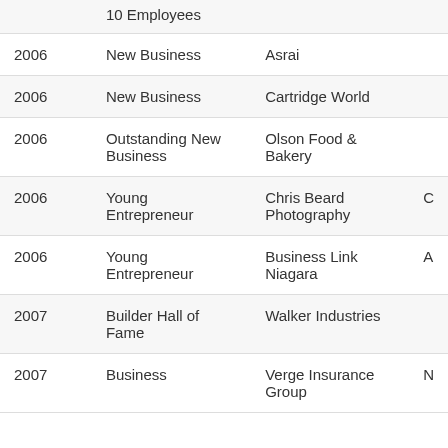| Year | Category | Business |  |
| --- | --- | --- | --- |
|  | 10 Employees |  |  |
| 2006 | New Business | Asrai |  |
| 2006 | New Business | Cartridge World |  |
| 2006 | Outstanding New Business | Olson Food & Bakery |  |
| 2006 | Young Entrepreneur | Chris Beard Photography | C |
| 2006 | Young Entrepreneur | Business Link Niagara | A |
| 2007 | Builder Hall of Fame | Walker Industries |  |
| 2007 | Business | Verge Insurance Group | N |